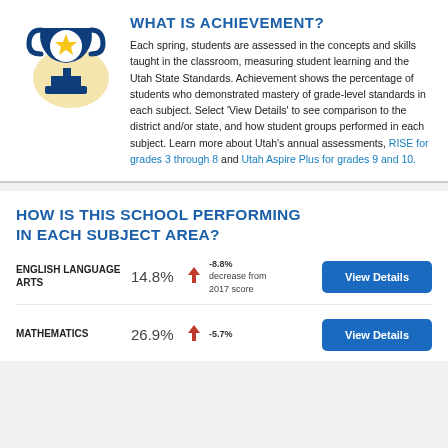[Figure (illustration): Blue trophy icon with yellow star on a beige/yellow circular background]
WHAT IS ACHIEVEMENT?
Each spring, students are assessed in the concepts and skills taught in the classroom, measuring student learning and the Utah State Standards. Achievement shows the percentage of students who demonstrated mastery of grade-level standards in each subject. Select 'View Details' to see comparison to the district and/or state, and how student groups performed in each subject. Learn more about Utah's annual assessments, RISE for grades 3 through 8 and Utah Aspire Plus for grades 9 and 10.
HOW IS THIS SCHOOL PERFORMING IN EACH SUBJECT AREA?
ENGLISH LANGUAGE ARTS 14.8% -8.8% decrease from 2017 score
MATHEMATICS 26.9% -5.7%